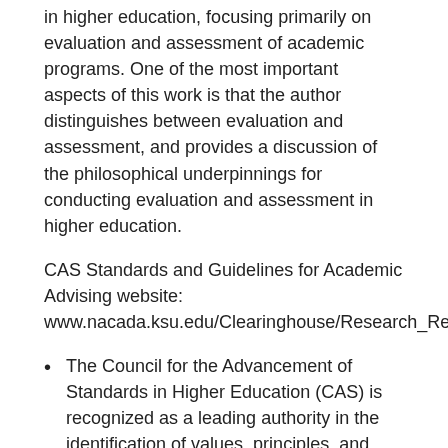in higher education, focusing primarily on evaluation and assessment of academic programs. One of the most important aspects of this work is that the author distinguishes between evaluation and assessment, and provides a discussion of the philosophical underpinnings for conducting evaluation and assessment in higher education.
CAS Standards and Guidelines for Academic Advising website: www.nacada.ksu.edu/Clearinghouse/Research_Related/CAS.htm
The Council for the Advancement of Standards in Higher Education (CAS) is recognized as a leading authority in the identification of values, principles, and standards of practices for various facets of higher education, including academic advising. CAS offers 16 “relevant and desirable” student learning outcomes for academic advising applicable to every type of higher educational setting, as well as standards and expectations for the academic